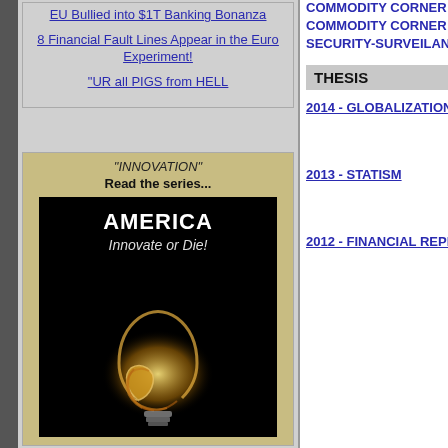EU Bullied into $1T Banking Bonanza
8 Financial Fault Lines Appear in the Euro Experiment!
"UR all PIGS from HELL
[Figure (illustration): INNOVATION series promo box with America Innovate or Die book cover showing a glowing CFL lightbulb on black background]
COMMODITY CORNER - TR...
COMMODITY CORNER - AGR...
SECURITY-SURVEILANCE CO...
THESIS
2014 - GLOBALIZATION TRA...
2013 - STATISM
2012 - FINANCIAL REPRESSI...